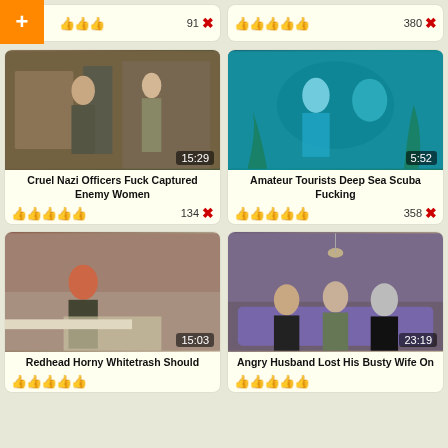[Figure (screenshot): Top partial card left with plus button and thumbs up icons, count 91 with X]
[Figure (screenshot): Top partial card right with thumbs up icons, count 380 with X]
[Figure (photo): Video thumbnail 15:29 duration - outdoor scene]
Cruel Nazi Officers Fuck Captured Enemy Women
134 X
[Figure (photo): Video thumbnail 5:52 duration - underwater scuba scene]
Amateur Tourists Deep Sea Scuba Fucking
358 X
[Figure (photo): Video thumbnail 15:03 duration]
Redhead Horny Whitetrash Should
[Figure (photo): Video thumbnail 23:19 duration - indoor sofa scene]
Angry Husband Lost His Busty Wife On